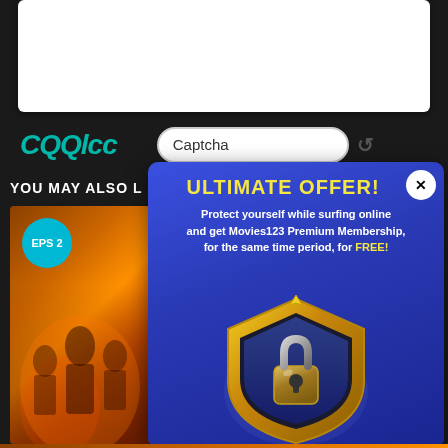[Figure (screenshot): White rectangle box at top of page, appears to be a video player or content area]
[Figure (logo): CQQlcc logo in teal/green italic stylized font]
Captcha
YOU MAY ALSO L
[Figure (photo): Movie thumbnail with EPS 2 badge, fire/fantasy characters]
[Figure (infographic): Popup ad with ULTIMATE OFFER! headline, VPN/security offer with shield and padlock graphic]
ULTIMATE OFFER!
Protect yourself while surfing online and get Movies123 Premium Membership, for the same time period, for FREE!